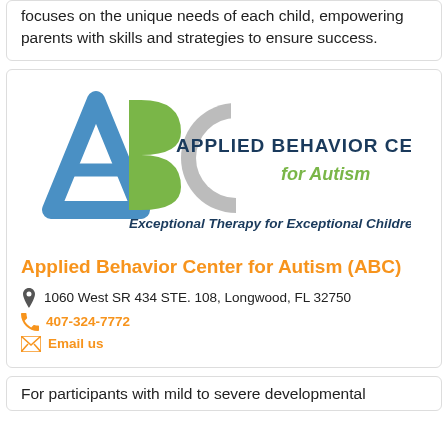focuses on the unique needs of each child, empowering parents with skills and strategies to ensure success.
[Figure (logo): Applied Behavior Center for Autism (ABC) logo with colorful A, B, C letters in blue, green, and gray, and tagline 'Exceptional Therapy for Exceptional Children']
Applied Behavior Center for Autism (ABC)
1060 West SR 434 STE. 108, Longwood, FL 32750
407-324-7772
Email us
For participants with mild to severe developmental